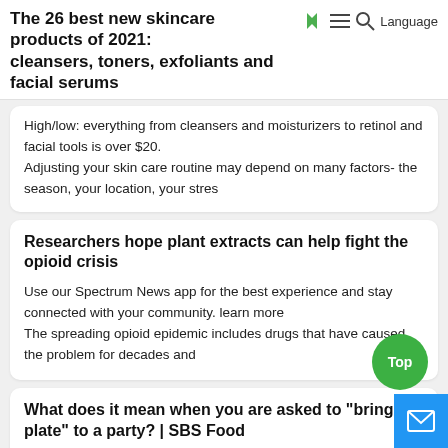The 26 best new skincare products of 2021: cleansers, toners, exfoliants and facial serums
High/low: everything from cleansers and moisturizers to retinol and facial tools is over $20.
Adjusting your skin care routine may depend on many factors- the season, your location, your stres
Researchers hope plant extracts can help fight the opioid crisis
Use our Spectrum News app for the best experience and stay connected with your community. learn more
The spreading opioid epidemic includes drugs that have caused the problem for decades and
What does it mean when you are asked to "bring plate" to a party? | SBS Food